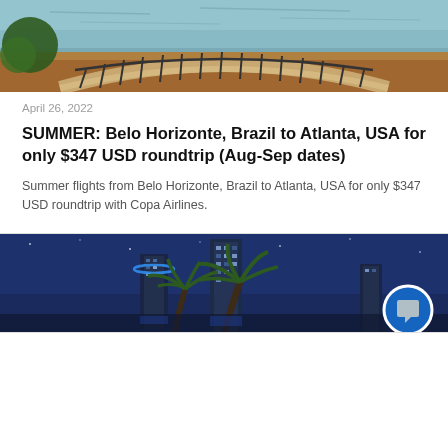[Figure (photo): Aerial view of a curved bridge over a lake or river with autumn-colored leaves and reflective water]
April 26, 2022
SUMMER: Belo Horizonte, Brazil to Atlanta, USA for only $347 USD roundtrip (Aug-Sep dates)
Summer flights from Belo Horizonte, Brazil to Atlanta, USA for only $347 USD roundtrip with Copa Airlines.
[Figure (photo): Nighttime cityscape with palm trees and illuminated skyscrapers against a dark blue sky]